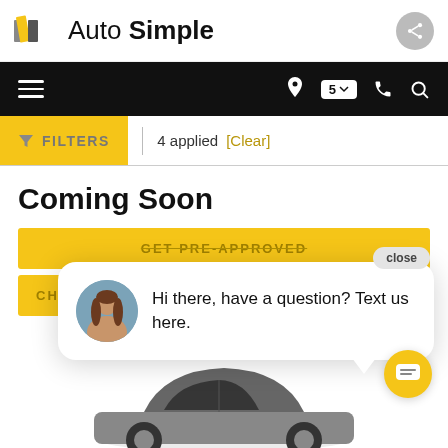[Figure (logo): Auto Simple logo with diagonal stripe marks and share button]
[Figure (screenshot): Navigation bar with hamburger menu, location pin with badge '5', phone icon, and search icon on black background]
FILTERS  4 applied  [Clear]
Coming Soon
GET PRE-APPROVED
CH...
Hi there, have a question? Text us here.
[Figure (photo): Partial view of a dark car from above/side, bottom of page]